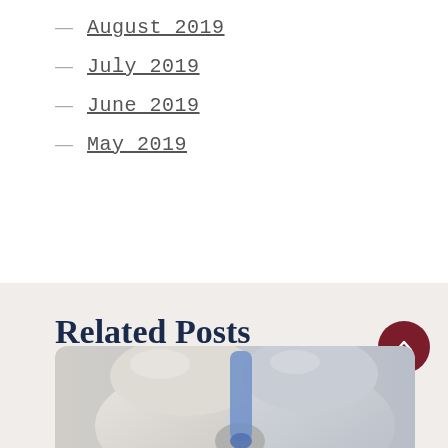August 2019
July 2019
June 2019
May 2019
Related Posts
[Figure (photo): Dental illustration showing teeth with a blue dental instrument or implant component between teeth, on a light gray background]